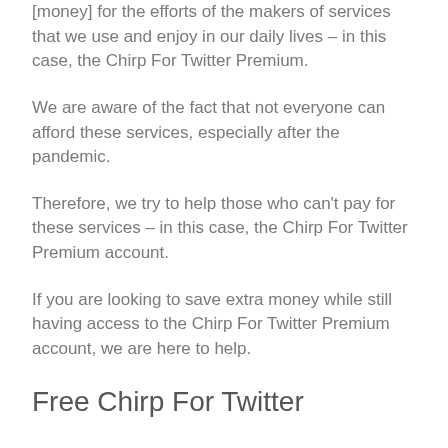[money] for the efforts of the makers of services that we use and enjoy in our daily lives – in this case, the Chirp For Twitter Premium.
We are aware of the fact that not everyone can afford these services, especially after the pandemic.
Therefore, we try to help those who can't pay for these services – in this case, the Chirp For Twitter Premium account.
If you are looking to save extra money while still having access to the Chirp For Twitter Premium account, we are here to help.
Free Chirp For Twitter